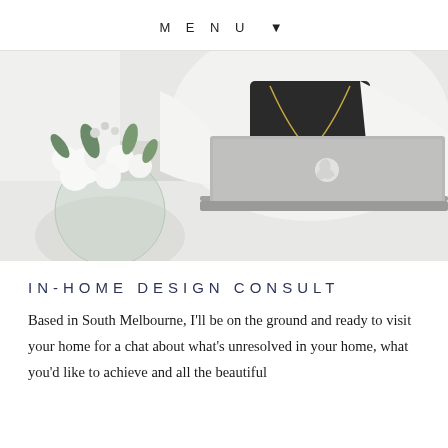MENU ▾
[Figure (photo): A person wearing a white cardigan and black top with a long gold necklace, sitting at a white desk working on a silver MacBook laptop, with a round glass vase of white flowers and greenery in the foreground.]
IN-HOME DESIGN CONSULT
Based in South Melbourne, I'll be on the ground and ready to visit your home for a chat about what's unresolved in your home, what you'd like to achieve and all the beautiful